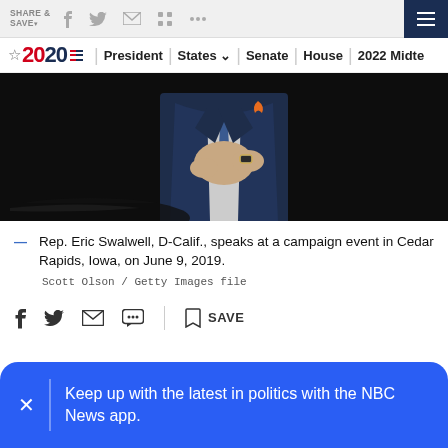SHARE & SAVE | [social icons] | [menu]
2020 | President | States | Senate | House | 2022 Midterms
[Figure (photo): Rep. Eric Swalwell in a dark navy suit adjusting cufflinks against a black background, with an orange ribbon pin on his lapel.]
Rep. Eric Swalwell, D-Calif., speaks at a campaign event in Cedar Rapids, Iowa, on June 9, 2019.
Scott Olson / Getty Images file
[Social share icons: Facebook, Twitter, Email, SMS] SAVE
Keep up with the latest in politics with the NBC News app.